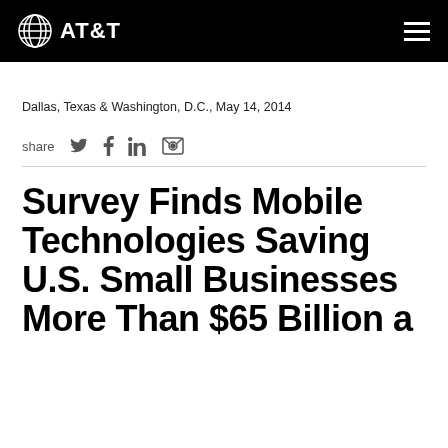AT&T
Dallas, Texas & Washington, D.C., May 14, 2014
share
Survey Finds Mobile Technologies Saving U.S. Small Businesses More Than $65 Billion a